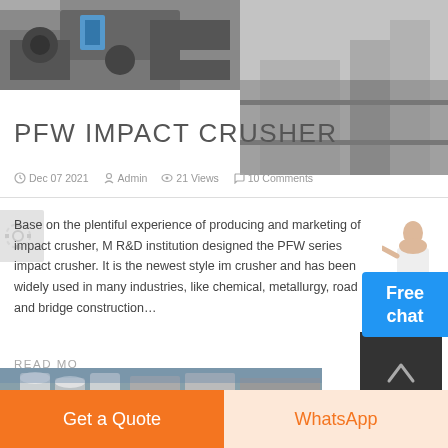[Figure (photo): Industrial machinery / crusher equipment in a factory setting]
PFW IMPACT CRUSHER
Dec 07 2021   Admin   21 Views   10 Comments
Base on the plentiful experience of producing and marketing of impact crusher, M R&D institution designed the PFW series impact crusher. It is the newest style im crusher and has been widely used in many industries, like chemical, metallurgy, road and bridge construction…
READ MO
[Figure (photo): Industrial facility interior with pipes and large storage tanks or silos]
Get a Quote
WhatsApp